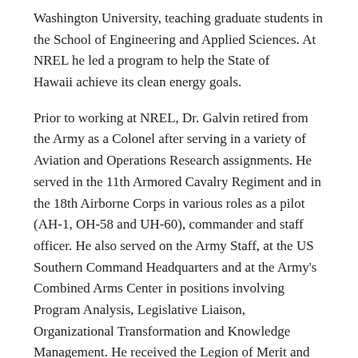Washington University, teaching graduate students in the School of Engineering and Applied Sciences. At NREL he led a program to help the State of Hawaii achieve its clean energy goals.
Prior to working at NREL, Dr. Galvin retired from the Army as a Colonel after serving in a variety of Aviation and Operations Research assignments. He served in the 11th Armored Cavalry Regiment and in the 18th Airborne Corps in various roles as a pilot (AH-1, OH-58 and UH-60), commander and staff officer. He also served on the Army Staff, at the US Southern Command Headquarters and at the Army's Combined Arms Center in positions involving Program Analysis, Legislative Liaison, Organizational Transformation and Knowledge Management. He received the Legion of Merit and other awards for his military service. He was the 2012 recipient of the Chairman's Award from NREL for his support to DoD. In addition to being a Senior Army Aviator, he is also Airborne, Ranger and Air Assault qualified. Dr. Galvin earned his Ph.D. in Industrial and Systems Engineering from Virginia Tech, an MS in Operations Research from the Naval